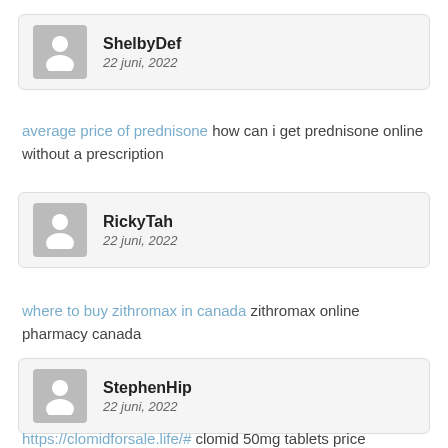ShelbyDef
22 juni, 2022
average price of prednisone how can i get prednisone online without a prescription
RickyTah
22 juni, 2022
where to buy zithromax in canada zithromax online pharmacy canada
StephenHip
22 juni, 2022
https://clomidforsale.life/# clomid 50mg tablets price